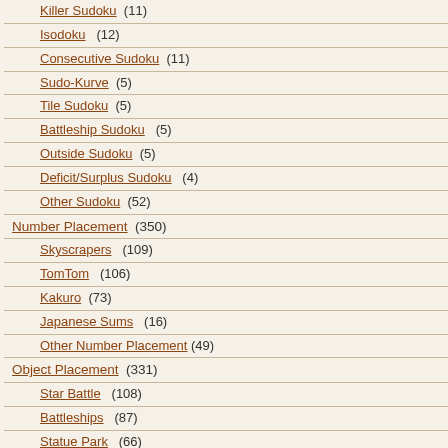Killer Sudoku (11)
Isodoku (12)
Consecutive Sudoku (11)
Sudo-Kurve (5)
Tile Sudoku (5)
Battleship Sudoku (5)
Outside Sudoku (5)
Deficit/Surplus Sudoku (4)
Other Sudoku (52)
Number Placement (350)
Skyscrapers (109)
TomTom (106)
Kakuro (73)
Japanese Sums (16)
Other Number Placement (49)
Object Placement (331)
Star Battle (108)
Battleships (87)
Statue Park (66)
Minesweeper (53)
Other Object Placement (33)
Shading (498)
Tapa (160)
LITS (84)
Nurikabe (78)
Cross the Streams (66)
or solve online (using ship placement and s... click gives circle/squa...
Theme: Hanging Fra...
Author/Opus: This is...
Rules: Variation of st... grid indicate the numb... containing ship segme...
Answer String: For e... from the left where a s... number). If the row is... separators.
Time Standards (hig...
Solution: PDF; a solu...
Note: Follow this link... Battleships. More Batt... Art of Puzzles, and in...